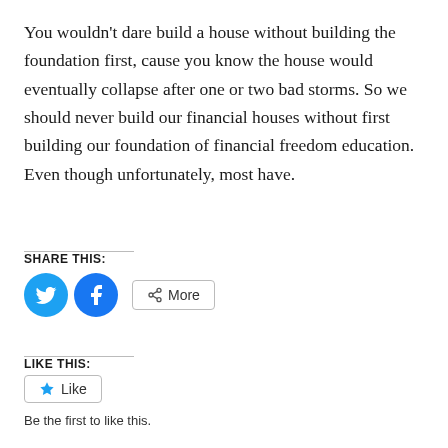You wouldn't dare build a house without building the foundation first, cause you know the house would eventually collapse after one or two bad storms. So we should never build our financial houses without first building our foundation of financial freedom education. Even though unfortunately, most have.
SHARE THIS:
[Figure (other): Social share buttons: Twitter (blue bird icon), Facebook (blue f icon), and a More button with share icon]
LIKE THIS:
[Figure (other): Like button with star icon]
Be the first to like this.